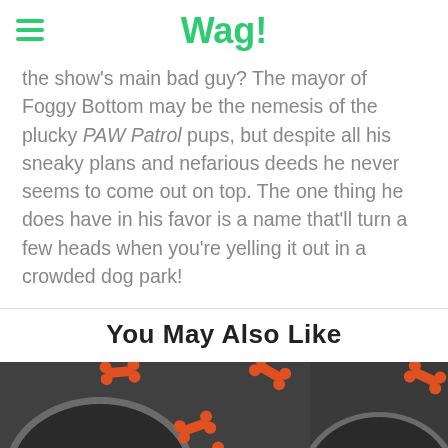Wag!
the show's main bad guy? The mayor of Foggy Bottom may be the nemesis of the plucky PAW Patrol pups, but despite all his sneaky plans and nefarious deeds he never seems to come out on top. The one thing he does have in his favor is a name that'll turn a few heads when you're yelling it out in a crowded dog park!
You May Also Like
[Figure (photo): Two side-by-side photos of dog kibble in white bowls with orange bone-shaped treats scattered on a dark surface]
[Figure (photo): Partial second photo of dog kibble in white bowl with orange bone-shaped treat, dark background]